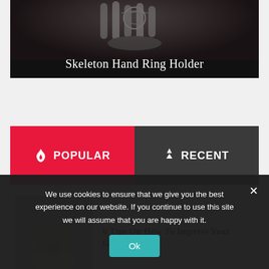[Figure (photo): Dark background image of Skeleton Hand Ring Holder with jewelry/chain accessories visible. White text overlay at the bottom reads 'Skeleton Hand Ring Holder'.]
POPULAR
RECENT
[Figure (photo): Thumbnail of food spread on a table with plates and dishes.]
6 Tips On How To Impress Your Guests
[Figure (photo): Thumbnail of a plate with botanical design.]
Flowers-on-tulle: Beautiful Botanical
We use cookies to ensure that we give you the best experience on our website. If you continue to use this site we will assume that you are happy with it.